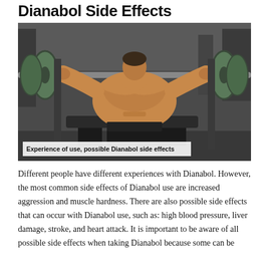Dianabol Side Effects
[Figure (photo): A muscular man performing a bench press with a heavy barbell loaded with weight plates in a gym setting. Caption overlay reads: Experience of use, possible Dianabol side effects]
Experience of use, possible Dianabol side effects
Different people have different experiences with Dianabol. However, the most common side effects of Dianabol use are increased aggression and muscle hardness. There are also possible side effects that can occur with Dianabol use, such as: high blood pressure, liver damage, stroke, and heart attack. It is important to be aware of all possible side effects when taking Dianabol because some can be